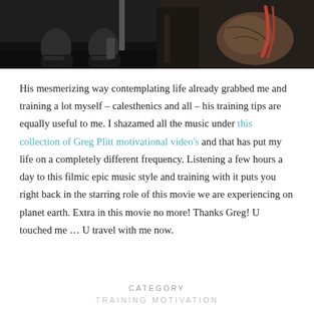[Figure (photo): Two side-by-side gym/fitness photos: left shows legs and feet of someone exercising with a barbell, right shows muscular arms of a person holding a cable or rope in a gym setting.]
His mesmerizing way contemplating life already grabbed me and training a lot myself – calesthenics and all – his training tips are equally useful to me. I shazamed all the music under this collection of Greg Plitt motivational video's and that has put my life on a completely different frequency. Listening a few hours a day to this filmic epic music style and training with it puts you right back in the starring role of this movie we are experiencing on planet earth. Extra in this movie no more! Thanks Greg! U touched me … U travel with me now.
CATEGORY
TRAINING MOTIVATION